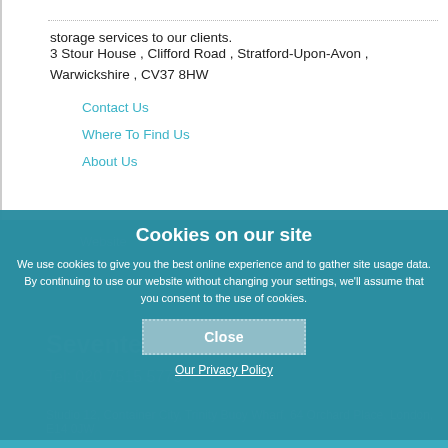storage services to our clients.
3 Stour House , Clifford Road , Stratford-Upon-Avon , Warwickshire , CV37 8HW
Contact Us
Where To Find Us
About Us
Website
Seventeen Events
Tel:  020 7515 5775
Studio 12, Container City, Trinity Buoy Wharf, 64 Orchard Place, London, E14 0JW
Cookies on our site
We use cookies to give you the best online experience and to gather site usage data. By continuing to use our website without changing your settings, we'll assume that you consent to the use of cookies.
Close
Our Privacy Policy